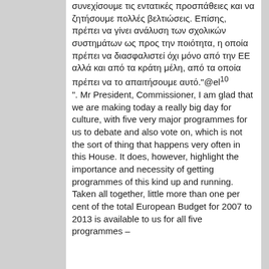συνεχίσουμε τις εντατικές προσπάθειες και να ζητήσουμε πολλές βελτιώσεις. Επίσης, πρέπει να γίνει ανάλυση των σχολικών συστημάτων ως προς την ποιότητα, η οποία πρέπει να διασφαλιστεί όχι μόνο από την ΕΕ αλλά και από τα κράτη μέλη, από τα οποία πρέπει να το απαιτήσουμε αυτό."@el10 ". Mr President, Commissioner, I am glad that we are making today a really big day for culture, with five very major programmes for us to debate and also vote on, which is not the sort of thing that happens very often in this House. It does, however, highlight the importance and necessity of getting programmes of this kind up and running. Taken all together, little more than one per cent of the total European Budget for 2007 to 2013 is available to us for all five programmes –